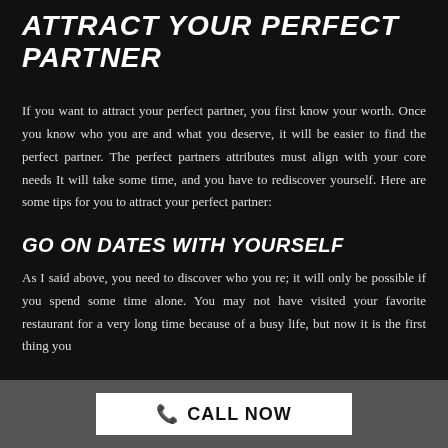ATTRACT YOUR PERFECT PARTNER
If you want to attract your perfect partner, you first know your worth. Once you know who you are and what you deserve, it will be easier to find the perfect partner. The perfect partners attributes must align with your core needs It will take some time, and you have to rediscover yourself. Here are some tips for you to attract your perfect partner:
GO ON DATES WITH YOURSELF
As I said above, you need to discover who you re; it will only be possible if you spend some time alone. You may not have visited your favorite restaurant for a very long time because of a busy life, but now it is the first thing you
CALL NOW